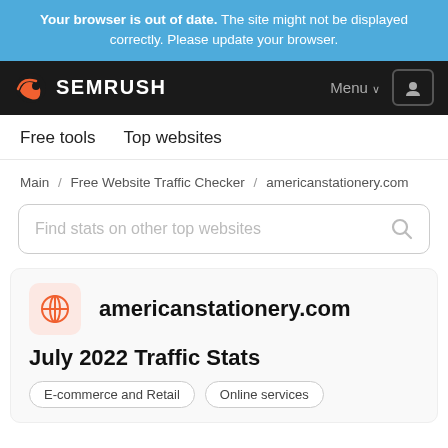Your browser is out of date. The site might not be displayed correctly. Please update your browser.
SEMRUSH — Menu / User
Free tools   Top websites
Main / Free Website Traffic Checker / americanstationery.com
Find stats on other top websites
americanstationery.com
July 2022 Traffic Stats
E-commerce and Retail   Online services